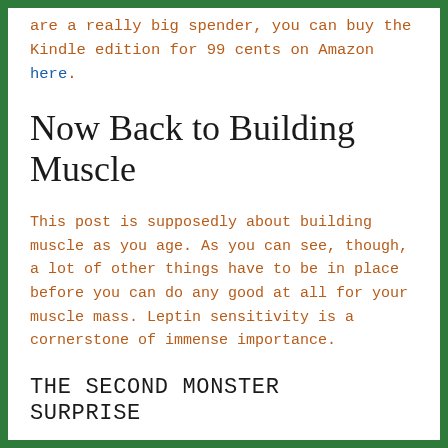are a really big spender, you can buy the Kindle edition for 99 cents on Amazon here.
Now Back to Building Muscle
This post is supposedly about building muscle as you age. As you can see, though, a lot of other things have to be in place before you can do any good at all for your muscle mass. Leptin sensitivity is a cornerstone of immense importance.
THE SECOND MONSTER SURPRISE
Food does have a role. However…